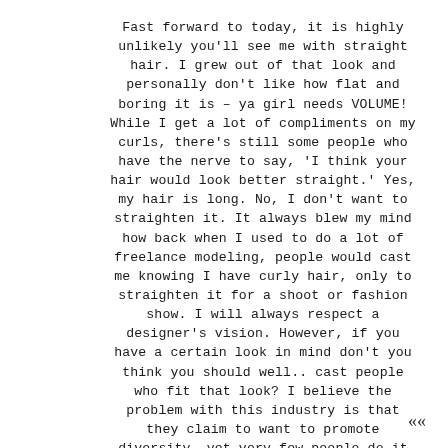Fast forward to today, it is highly unlikely you'll see me with straight hair. I grew out of that look and personally don't like how flat and boring it is – ya girl needs VOLUME! While I get a lot of compliments on my curls, there's still some people who have the nerve to say, 'I think your hair would look better straight.' Yes, my hair is long. No, I don't want to straighten it. It always blew my mind how back when I used to do a lot of freelance modeling, people would cast me knowing I have curly hair, only to straighten it for a shoot or fashion show. I will always respect a designer's vision. However, if you have a certain look in mind don't you think you should well.. cast people who fit that look? I believe the problem with this industry is that they claim to want to promote diversity, yet very few people do it tastefully. I cannot count the amount of people I've worked with in the industry that didn't know how to deal with textured hair. They acted as if my curls were a bother and thought that straightening it would be the easy way out when in fact, it's actually a lot more work. Whenever I would open my mouth about it, it was deemed unprofessional. How is it unprofessional to explain to someone how to deal with my hair? Anyone with curly hair would tell you that you can't just brush our hair out and you definitely cannot apply any